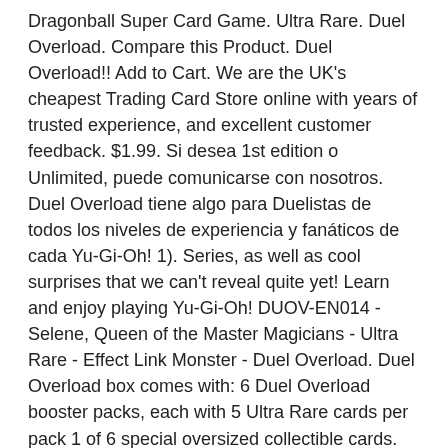Dragonball Super Card Game. Ultra Rare. Duel Overload. Compare this Product. Duel Overload!! Add to Cart. We are the UK's cheapest Trading Card Store online with years of trusted experience, and excellent customer feedback. $1.99. Si desea 1st edition o Unlimited, puede comunicarse con nosotros. Duel Overload tiene algo para Duelistas de todos los niveles de experiencia y fanáticos de cada Yu-Gi-Oh! 1). Series, as well as cool surprises that we can't reveal quite yet! Learn and enjoy playing Yu-Gi-Oh! DUOV-EN014 - Selene, Queen of the Master Magicians - Ultra Rare - Effect Link Monster - Duel Overload. Duel Overload box comes with: 6 Duel Overload booster packs, each with 5 Ultra Rare cards per pack 1 of 6 special oversized collectible cards. Learn and enjoy playing Yu-Gi-Oh! Sale! TRADING CARD GAME. The latest info will become available starting from their release date. Monster. Yugioh, Cardfight Vanguard, Trading Cards Cheap, Fast, Mint For Over 25 Years. $0.33.